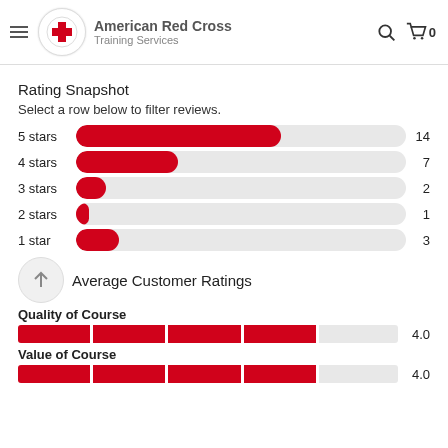American Red Cross Training Services
Rating Snapshot
Select a row below to filter reviews.
[Figure (bar-chart): Rating Snapshot]
Average Customer Ratings
Quality of Course
[Figure (bar-chart): Quality of Course]
Value of Course
[Figure (bar-chart): Value of Course]